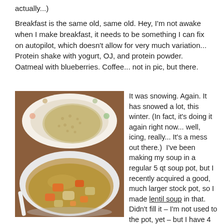actually...)
Breakfast is the same old, same old. Hey, I'm not awake when I make breakfast, it needs to be something I can fix on autopilot, which doesn't allow for very much variation... Protein shake with yogurt, OJ, and protein powder. Oatmeal with blueberries. Coffee... not in pic, but there.
[Figure (photo): A white bowl of lentil soup with chunks of carrot, potato, and other vegetables, with a rice cake on a decorative plate in the background, on a wooden table.]
It was snowing. Again. It has snowed a lot, this winter. (In fact, it's doing it again right now... well, icing, really... It's a mess out there.)  I've been making my soup in a regular 5 qt soup pot, but I recently acquired a good, much larger stock pot, so I made lentil soup in that. Didn't fill it – I'm not used to the pot, yet – but I have 4 quarts still in the fridge – which will go quickly, the way this weather is going... (We're supposed to get another, even worse, snowstorm over the weekend. It is very